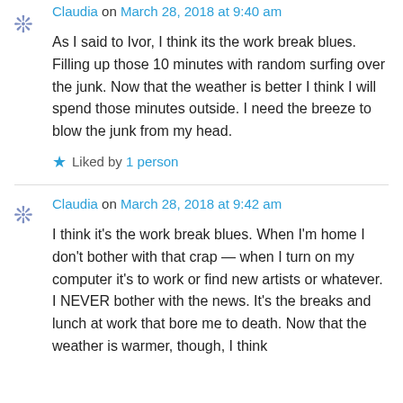As I said to Ivor, I think its the work break blues. Filling up those 10 minutes with random surfing over the junk. Now that the weather is better I think I will spend those minutes outside. I need the breeze to blow the junk from my head.
Liked by 1 person
Claudia on March 28, 2018 at 9:42 am
I think it's the work break blues. When I'm home I don't bother with that crap — when I turn on my computer it's to work or find new artists or whatever. I NEVER bother with the news. It's the breaks and lunch at work that bore me to death. Now that the weather is warmer, though, I think